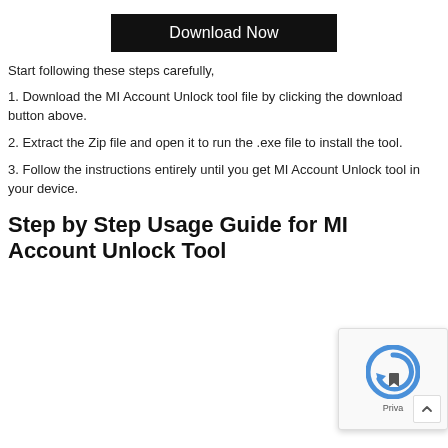[Figure (other): Download Now button — black rectangle with white text]
Start following these steps carefully,
1. Download the MI Account Unlock tool file by clicking the download button above.
2. Extract the Zip file and open it to run the .exe file to install the tool.
3. Follow the instructions entirely until you get MI Account Unlock tool in your device.
Step by Step Usage Guide for MI Account Unlock Tool